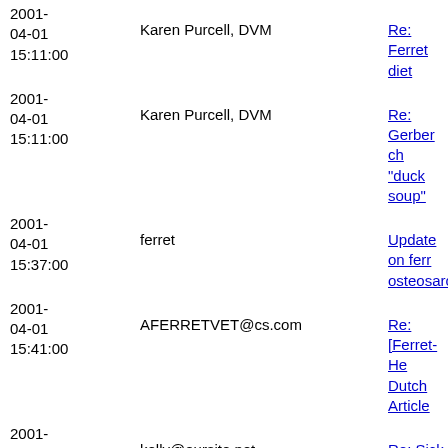2001-04-01 15:11:00 | Karen Purcell, DVM | Re: Ferret diet
2001-04-01 15:11:00 | Karen Purcell, DVM | Re: Gerber ch... "duck soup"
2001-04-01 15:37:00 | ferret | Update on ferr... osteosarcoma
2001-04-01 15:41:00 | AFERRETVET@cs.com | Re: [Ferret-He... Dutch Article
2001-04-01 16:35:00 | kelly@oursite.net | Re: Sick Ferre...
2001-04-01 16:45:00 | JTRADFORD@webtv.net | For Ms. DeCa...
2001-04-01 17:45:00 | debra@cordianet.com | Re: ??Adrenal... Adrenal?? Tha...
2001-04-01 17:49:00 | edjon7404@thegrid.net | Oily fur
2001-04-01 17:54:00 | kewlkrittters@uswest.net | Re: [Ferret-He... Ferret Found